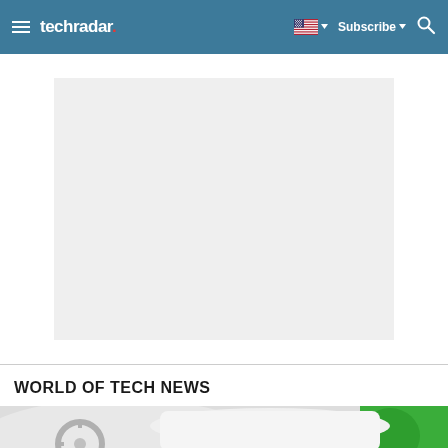techradar | Subscribe | (navigation bar with hamburger menu, flag, subscribe, search)
[Figure (other): Large light grey advertisement placeholder box centered in white area]
WORLD OF TECH NEWS
[Figure (photo): Partial photo of a car interior/exterior showing white and green elements, steering wheel visible]